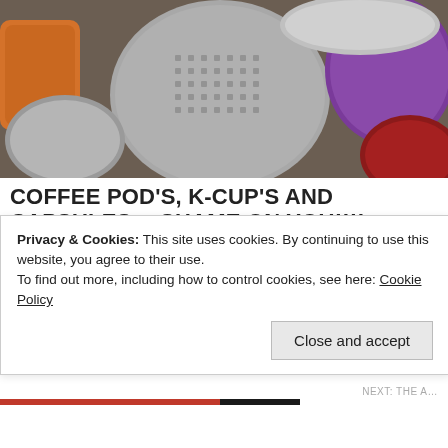[Figure (photo): Overhead view of various colorful coffee pods, K-cups, and capsules piled together including silver, orange, purple, and red colored pods]
COFFEE POD'S, K-CUP'S AND CAPSULES… SHAME ON YOU!!!!
BY DO WE DARE SAY   JANUARY 13, 2021
[Figure (illustration): Illustration showing an 'OPEN' sign on a yellow banner above a wooden gate or fence structure with a metal hinge/latch]
Privacy & Cookies: This site uses cookies. By continuing to use this website, you agree to their use.
To find out more, including how to control cookies, see here: Cookie Policy
Close and accept